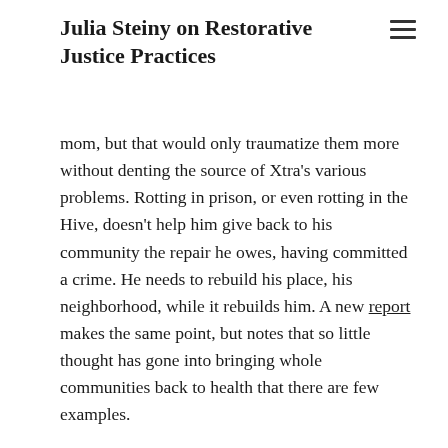Julia Steiny on Restorative Justice Practices
mom, but that would only traumatize them more without denting the source of Xtra's various problems. Rotting in prison, or even rotting in the Hive, doesn't help him give back to his community the repair he owes, having committed a crime. He needs to rebuild his place, his neighborhood, while it rebuilds him. A new report makes the same point, but notes that so little thought has gone into bringing whole communities back to health that there are few examples.
What we have here is a failure of imagination. A numbed public can picture a kid or a family. But the public has a far harder time seeing the many children who